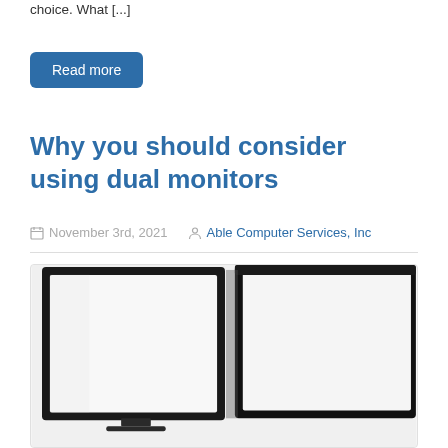choice. What [...]
Read more
Why you should consider using dual monitors
November 3rd, 2021  Able Computer Services, Inc
[Figure (photo): Two white monitors side by side with black bezels, showing blank white screens, photographed from a slight angle]